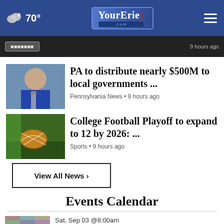70° YourErie.com
[Figure (screenshot): Partially visible dark banner with button and timestamp]
[Figure (photo): Photo of a man speaking into microphone]
PA to distribute nearly $500M to local governments ...
Pennsylvania News • 9 hours ago
[Figure (photo): Photo of a football being held]
College Football Playoff to expand to 12 by 2026: ...
Sports • 9 hours ago
View All News ›
Events Calendar
Sat, Sep 03 @8:00am